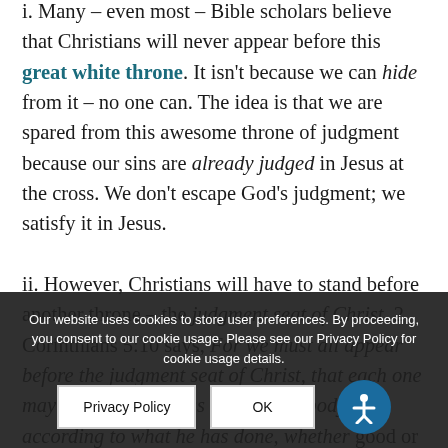i. Many – even most – Bible scholars believe that Christians will never appear before this great white throne. It isn't because we can hide from it – no one can. The idea is that we are spared from this awesome throne of judgment because our sins are already judged in Jesus at the cross. We don't escape God's judgment; we satisfy it in Jesus.
ii. However, Christians will have to stand before another throne – the judgment seat of Christ. 2 Corinthians 5:10 says, For we must all appear before the judgment seat of Christ, that each one may receive the things done in the body, according to what he has done, whether good or bad.
iii. Therefore, when we hear from the…
Our website uses cookies to store user preferences. By proceeding, you consent to our cookie usage. Please see our Privacy Policy for cookie usage details.